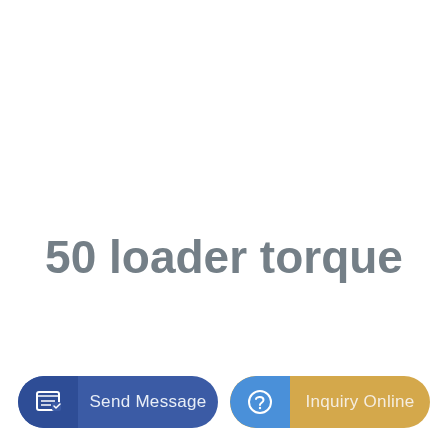50 loader torque
Send Message
Inquiry Online